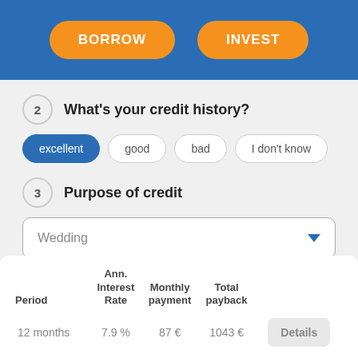[Figure (screenshot): Header with two orange pill buttons: BORROW and INVEST on a blue background]
2  What's your credit history?
excellent (selected), good, bad, I don't know
3  Purpose of credit
Wedding (dropdown selected value)
| Period | Ann. Interest Rate | Monthly payment | Total payback |  |
| --- | --- | --- | --- | --- |
| 12 months | 7.9 % | 87 € | 1043 € | Details |